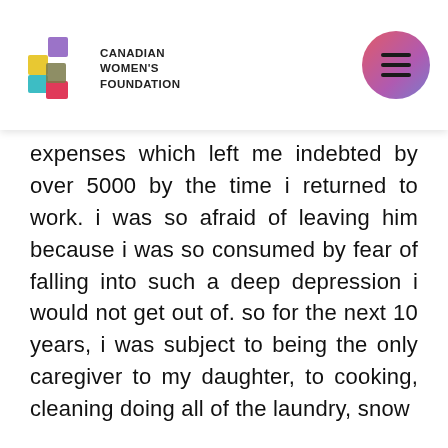[Figure (logo): Canadian Women's Foundation logo with colourful geometric pieces and organization name]
expenses which left me indebted by over 5000 by the time i returned to work. i was so afraid of leaving him because i was so consumed by fear of falling into such a deep depression i would not get out of. so for the next 10 years, i was subject to being the only caregiver to my daughter, to cooking, cleaning doing all of the laundry, snow